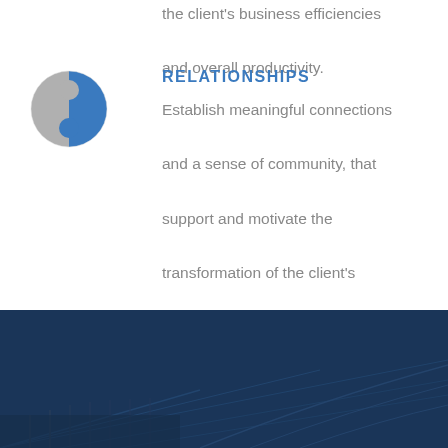the client's business efficiencies and overall productivity.
[Figure (logo): Circular yin-yang style logo with blue and grey halves]
RELATIONSHIPS
Establish meaningful connections and a sense of community, that support and motivate the transformation of the client's business and life.
[Figure (photo): Dark navy blue background with geometric architectural building lines overlay]